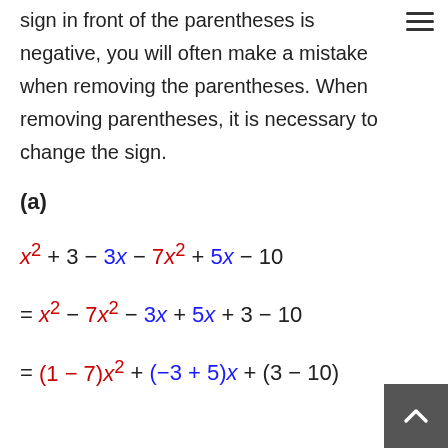sign in front of the parentheses is negative, you will often make a mistake when removing the parentheses. When removing parentheses, it is necessary to change the sign.
(a)